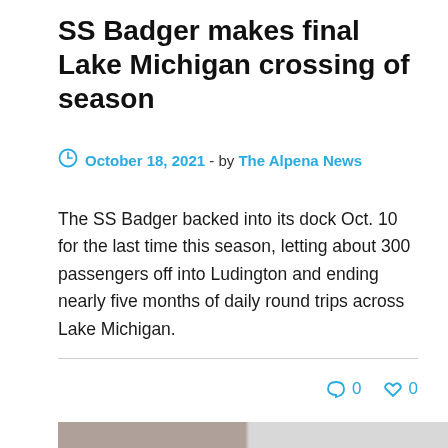SS Badger makes final Lake Michigan crossing of season
October 18, 2021 - by The Alpena News
The SS Badger backed into its dock Oct. 10 for the last time this season, letting about 300 passengers off into Ludington and ending nearly five months of daily round trips across Lake Michigan.
[Figure (photo): Photo of the SS Badger ship at dock, partially visible at the bottom of the page]